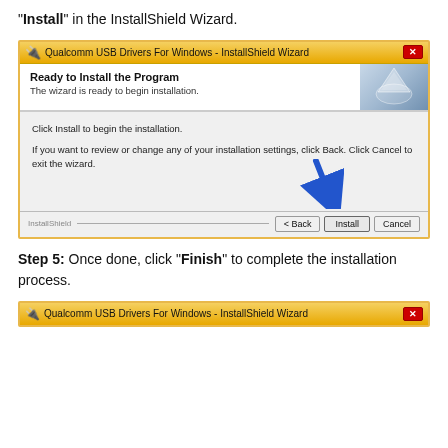"Install" in the InstallShield Wizard.
[Figure (screenshot): InstallShield Wizard dialog showing 'Ready to Install the Program' screen with Back, Install, and Cancel buttons. A blue arrow points to the Install button.]
Step 5: Once done, click "Finish" to complete the installation process.
[Figure (screenshot): Bottom portion of another Qualcomm USB Drivers For Windows - InstallShield Wizard dialog window title bar.]